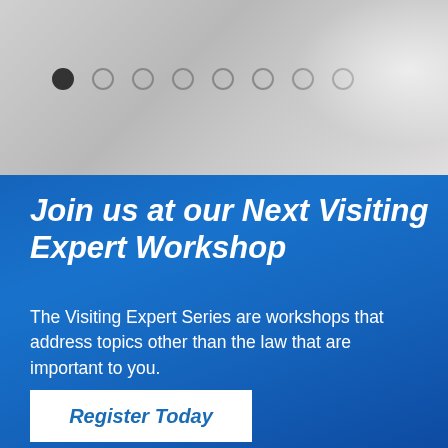[Figure (screenshot): Top section with light gray gradient background and a white/pearl decorative element on the right side, containing a carousel navigation with 8 dots (first dot filled/active, rest are outlines).]
Join us at our Next Visiting Expert Workshop
The Visiting Expert Series are workshops that address topics other than the law that are important to you.
Register Today